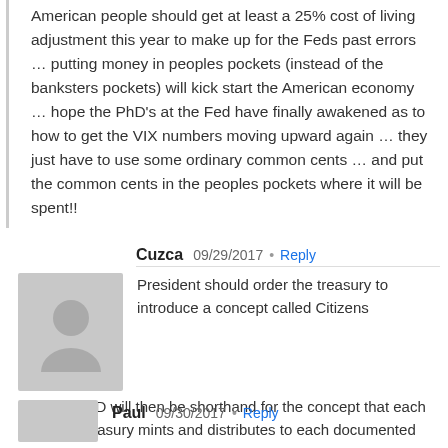American people should get at least a 25% cost of living adjustment this year to make up for the Feds past errors … putting money in peoples pockets (instead of the banksters pockets) will kick start the American economy … hope the PhD's at the Fed have finally awakened as to how to get the VIX numbers moving upward again … they just have to use some ordinary common cents … and put the common cents in the peoples pockets where it will be spent!!
Cuzca  09/29/2017  •  Reply
President should order the treasury to introduce a concept called Citizens Dividend. CD will then be shorthand for the concept that each year, the treasury mints and distributes to each documented citizen 100 $1 coins with Barack Obama's face on it. The flip side of the coin can have an image of the Georgia guide stones.
Paul  09/30/2017  •  Reply